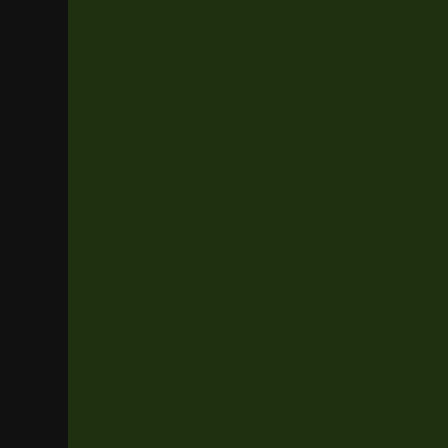He looks forward to working with both the team and the community.
Aaron Thomas - Aaron joins the team and brings experience throughout his professional life as a gamer, systems developer, and a project manager. Whether it's footy, soccer, card games or MMOPRGs starting with EQ and continuing through EQ, DAoC, EQ2, WoW, Rift, SWTOR etc. now he is excited to be part of the V...
Jacob Williams - Jacob joins the team as a senior software engineer prior to joining the team he specialized in architecture, server management & optim... in Norrath and started his MMORPG car... character was a Dwarf Warrior named H...
Just the FAQs
We have made some pretty big changes... of the burning questions that the commu... document. While we certainly endeavor t... reserve the right to change or modify the...